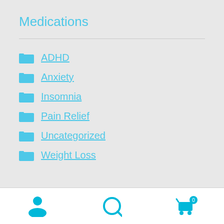Medications
ADHD
Anxiety
Insomnia
Pain Relief
Uncategorized
Weight Loss